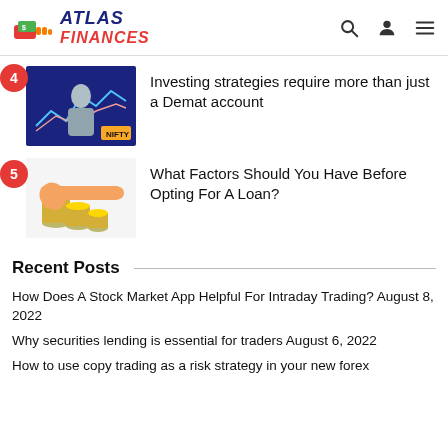Atlas Finances
4 - Investing strategies require more than just a Demat account
5 - What Factors Should You Have Before Opting For A Loan?
Recent Posts
How Does A Stock Market App Helpful For Intraday Trading? August 8, 2022
Why securities lending is essential for traders August 6, 2022
How to use copy trading as a risk strategy in your new forex